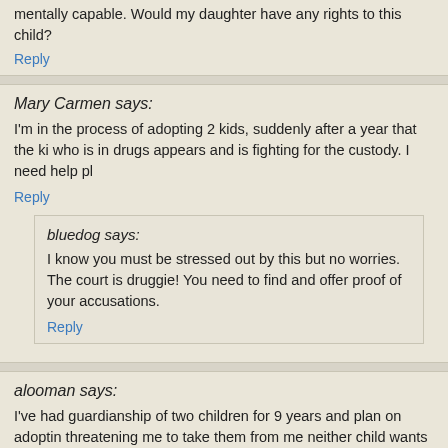mentally capable. Would my daughter have any rights to this child?
Reply
Mary Carmen says:
I'm in the process of adopting 2 kids, suddenly after a year that the ki who is in drugs appears and is fighting for the custody. I need help pl
Reply
bluedog says:
I know you must be stressed out by this but no worries. The court is druggie! You need to find and offer proof of your accusations.
Reply
alooman says:
I've had guardianship of two children for 9 years and plan on adoptin threatening me to take them from me neither child wants to be taken other is 13 will the courts take them from me both children are pretty everything will be ok does anyone know if im giving them false hopes relationship with them ant help would be more then appreciated. Im v
Reply